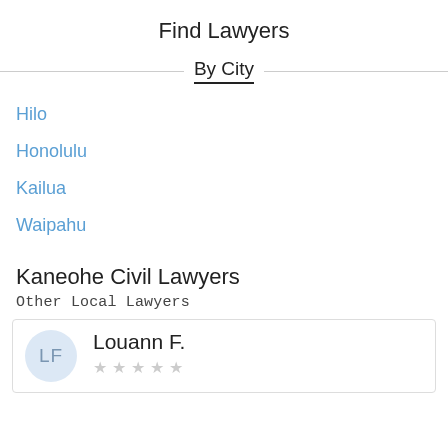Find Lawyers
By City
Hilo
Honolulu
Kailua
Waipahu
Kaneohe Civil Lawyers
Other Local Lawyers
LF Louann F. ☆☆☆☆☆